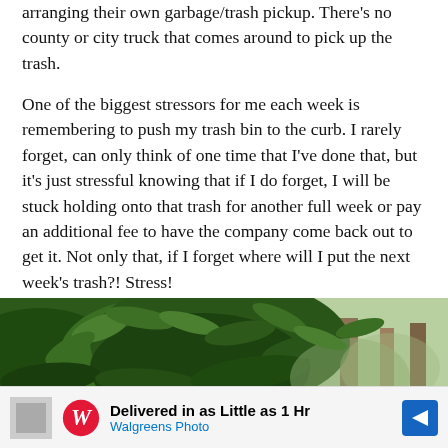arranging their own garbage/trash pickup. There's no county or city truck that comes around to pick up the trash.
One of the biggest stressors for me each week is remembering to push my trash bin to the curb. I rarely forget, can only think of one time that I've done that, but it's just stressful knowing that if I do forget, I will be stuck holding onto that trash for another full week or pay an additional fee to have the company come back out to get it. Not only that, if I forget where will I put the next week's trash?! Stress!
[Figure (photo): Close-up photograph of green leafy bush or shrub, with trees visible in background]
[Figure (infographic): Advertisement banner for Walgreens Photo: 'Delivered in as Little as 1 Hr' with Walgreens logo and blue arrow icon]